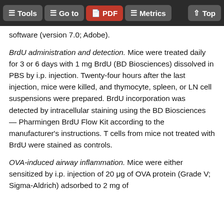Tools | Go to | PDF | Metrics | Top
software (version 7.0; Adobe).
BrdU administration and detection. Mice were treated daily for 3 or 6 days with 1 mg BrdU (BD Biosciences) dissolved in PBS by i.p. injection. Twenty-four hours after the last injection, mice were killed, and thymocyte, spleen, or LN cell suspensions were prepared. BrdU incorporation was detected by intracellular staining using the BD Biosciences — Pharmingen BrdU Flow Kit according to the manufacturer's instructions. T cells from mice not treated with BrdU were stained as controls.
OVA-induced airway inflammation. Mice were either sensitized by i.p. injection of 20 μg of OVA protein (Grade V; Sigma-Aldrich) adsorbed to 2 mg of